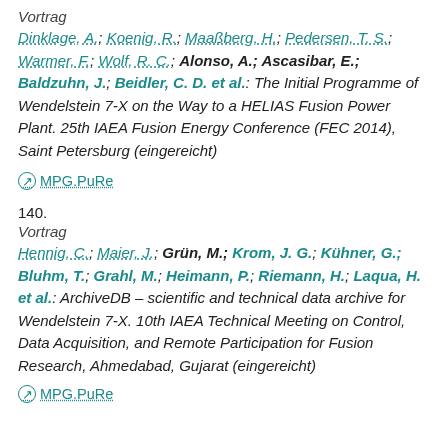Vortrag
Dinklage, A.; Koenig, R.; Maaßberg, H.; Pedersen, T. S.; Warmer, F.; Wolf, R. C.; Alonso, A.; Ascasibar, E.; Baldzuhn, J.; Beidler, C. D. et al.: The Initial Programme of Wendelstein 7-X on the Way to a HELIAS Fusion Power Plant. 25th IAEA Fusion Energy Conference (FEC 2014), Saint Petersburg (eingereicht)
MPG.PuRe
140.
Vortrag
Hennig, C.; Maier, J.; Grün, M.; Krom, J. G.; Kühner, G.; Bluhm, T.; Grahl, M.; Heimann, P.; Riemann, H.; Laqua, H. et al.: ArchiveDB – scientific and technical data archive for Wendelstein 7-X. 10th IAEA Technical Meeting on Control, Data Acquisition, and Remote Participation for Fusion Research, Ahmedabad, Gujarat (eingereicht)
MPG.PuRe